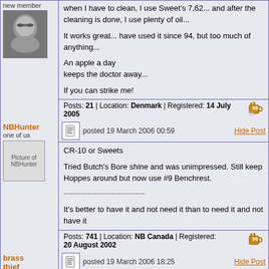new member
[Figure (photo): Avatar photo of user wearing sunglasses]
when I have to clean, I use Sweet's 7,62... and after the cleaning is done, I use plenty of oil...

It works great... have used it since 94, but too much of anything...

An apple a day
keeps the doctor away...

If you can strike me!
Posts: 21 | Location: Denmark | Registered: 14 July 2005
NBHunter
one of us
[Figure (photo): Picture of NBHunter]
posted 19 March 2006 00:59
Hide Post
CR-10 or Sweets

Tried Butch's Bore shine and was unimpressed. Still keep Hoppes around but now use #9 Benchrest.

-----------------------------------

It's better to have it and not need it than to need it and not have it
Posts: 741 | Location: NB Canada | Registered: 20 August 2002
brass thief
posted 19 March 2006 18:25
Hide Post